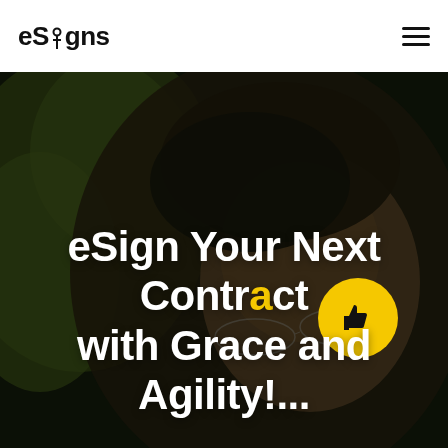eSigns
[Figure (photo): Dark moody close-up photo of a man with glasses and curly hair looking down, with green foliage in the background. Serves as hero background image for the eSigns website.]
eSign Your Next Contract with Grace and Agility!...